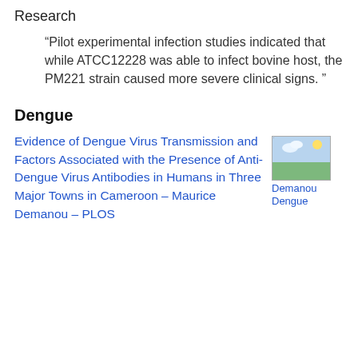Research
“Pilot experimental infection studies indicated that while ATCC12228 was able to infect bovine host, the PM221 strain caused more severe clinical signs. ”
Dengue
Evidence of Dengue Virus Transmission and Factors Associated with the Presence of Anti-Dengue Virus Antibodies in Humans in Three Major Towns in Cameroon – Maurice Demanou – PLOS
[Figure (photo): Small thumbnail image labeled 'Demanou Dengue']